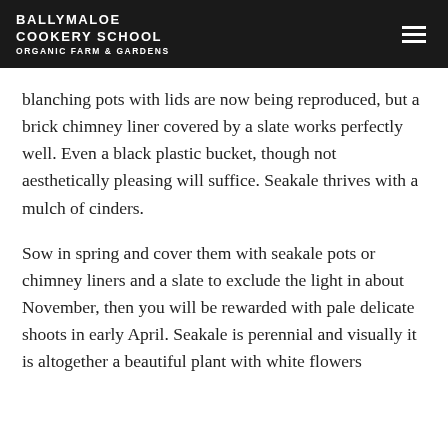BALLYMALOE COOKERY SCHOOL ORGANIC FARM & GARDENS
blanching pots with lids are now being reproduced, but a brick chimney liner covered by a slate works perfectly well. Even a black plastic bucket, though not aesthetically pleasing will suffice. Seakale thrives with a mulch of cinders.
Sow in spring and cover them with seakale pots or chimney liners and a slate to exclude the light in about November, then you will be rewarded with pale delicate shoots in early April. Seakale is perennial and visually it is altogether a beautiful plant with white flowers